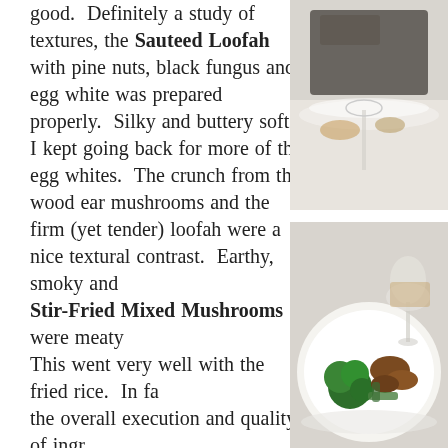good.  Definitely a study of textures, the Sauteed Loofah with pine nuts, black fungus and egg white was prepared properly.  Silky and buttery soft, I kept going back for more of the egg whites.  The crunch from the wood ear mushrooms and the firm (yet tender) loofah were a nice textural contrast.  Earthy, smoky and... Stir-Fried Mixed Mushrooms were meaty... This went very well with the fried rice.  In fa... the overall execution and quality of ingr...
[Figure (photo): Partial food photo visible at top right — appears to show a plated dish from above]
[Figure (photo): Food photo showing a white plate with broccoli, mushrooms, and other vegetables; wine glass visible in background]